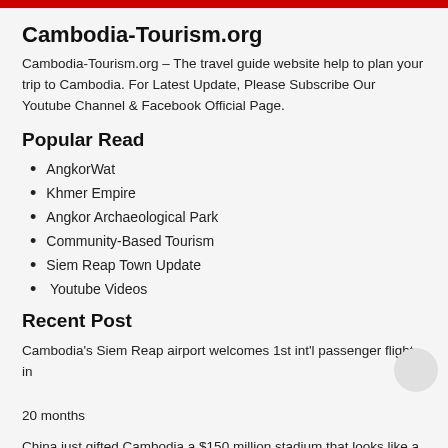Cambodia-Tourism.org
Cambodia-Tourism.org – The travel guide website help to plan your trip to Cambodia. For Latest Update, Please Subscribe Our Youtube Channel & Facebook Official Page.
Popular Read
AngkorWat
Khmer Empire
Angkor Archaeological Park
Community-Based Tourism
Siem Reap Town Update
Youtube Videos
Recent Post
Cambodia's Siem Reap airport welcomes 1st int'l passenger flight in

20 months
China just gifted Cambodia a $150 million stadium that looks like a giant bird, with most of its details already set to go. Take a look